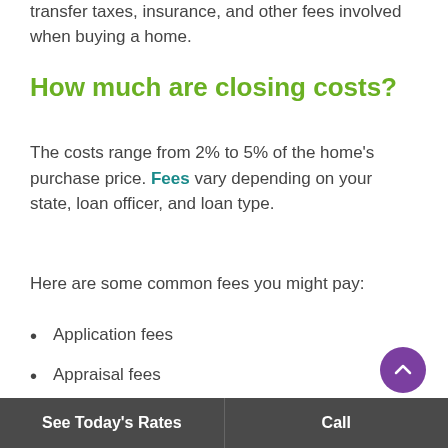transfer taxes, insurance, and other fees involved when buying a home.
How much are closing costs?
The costs range from 2% to 5% of the home’s purchase price. Fees vary depending on your state, loan officer, and loan type.
Here are some common fees you might pay:
Application fees
Appraisal fees
Home inspection
See Today's Rates | Call